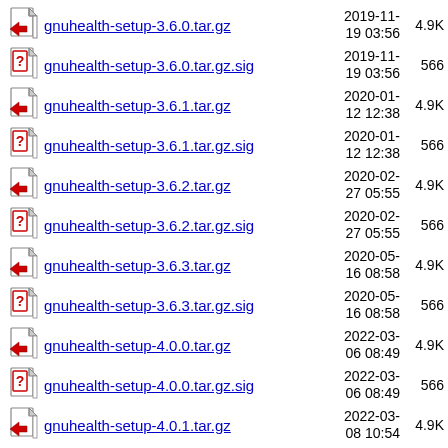gnuhealth-setup-3.6.0.tar.gz  2019-11-19 03:56  4.9K
gnuhealth-setup-3.6.0.tar.gz.sig  2019-11-19 03:56  566
gnuhealth-setup-3.6.1.tar.gz  2020-01-12 12:38  4.9K
gnuhealth-setup-3.6.1.tar.gz.sig  2020-01-12 12:38  566
gnuhealth-setup-3.6.2.tar.gz  2020-02-27 05:55  4.9K
gnuhealth-setup-3.6.2.tar.gz.sig  2020-02-27 05:55  566
gnuhealth-setup-3.6.3.tar.gz  2020-05-16 08:58  4.9K
gnuhealth-setup-3.6.3.tar.gz.sig  2020-05-16 08:58  566
gnuhealth-setup-4.0.0.tar.gz  2022-03-06 08:49  4.9K
gnuhealth-setup-4.0.0.tar.gz.sig  2022-03-06 08:49  566
gnuhealth-setup-4.0.1.tar.gz  2022-03-08 10:54  4.9K